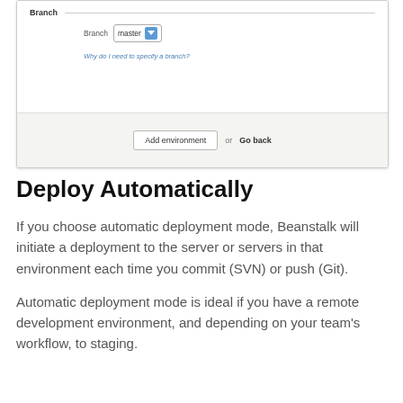[Figure (screenshot): UI screenshot showing a Branch section with a 'master' dropdown and a 'Why do I need to specify a branch?' help link, plus an 'Add environment' button and 'Go back' link in a gray footer area.]
Deploy Automatically
If you choose automatic deployment mode, Beanstalk will initiate a deployment to the server or servers in that environment each time you commit (SVN) or push (Git).
Automatic deployment mode is ideal if you have a remote development environment, and depending on your team's workflow, to staging.